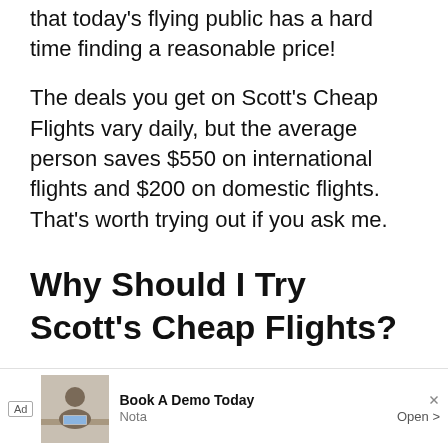that today's flying public has a hard time finding a reasonable price!
The deals you get on Scott's Cheap Flights vary daily, but the average person saves $550 on international flights and $200 on domestic flights. That's worth trying out if you ask me.
Why Should I Try Scott's Cheap Flights?
Scott's Cheap Flights is a great tool to find low-cost flights. One of the best features they offer is finding you the best flight with the l... time...
[Figure (other): Advertisement overlay: Ad badge, image of a man at a desk, 'Book A Demo Today' text, 'Nota' subtext, 'Open >' button, with play and close icons.]